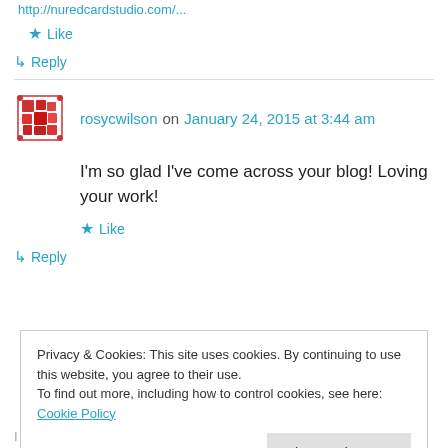http://nuredcardstudio.com/...
★ Like
↳ Reply
rosycwilson on January 24, 2015 at 3:44 am
I'm so glad I've come across your blog! Loving your work!
★ Like
↳ Reply
Privacy & Cookies: This site uses cookies. By continuing to use this website, you agree to their use.
To find out more, including how to control cookies, see here: Cookie Policy
Close and accept
I just wanted to let you know that I have